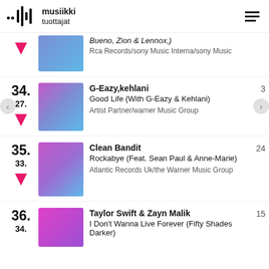musiikki tuottajat
34. G-Eazy,kehlani — Good Life (With G-Eazy & Kehlani) — Artist Partner/warner Music Group — weeks: 3 — prev: 27
35. Clean Bandit — Rockabye (Feat. Sean Paul & Anne-Marie) — Atlantic Records Uk/the Warner Music Group — weeks: 24 — prev: 33
36. Taylor Swift & Zayn Malik — I Don't Wanna Live Forever (Fifty Shades Darker) — weeks: 15 — prev: 34